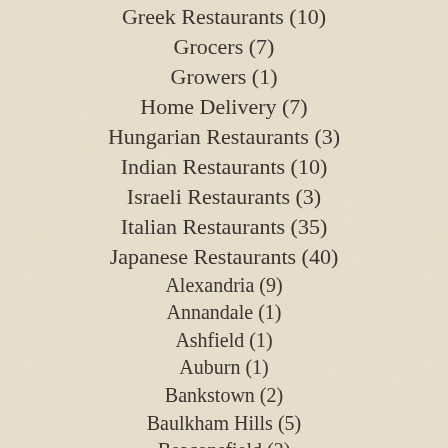Greek Restaurants (10)
Grocers (7)
Growers (1)
Home Delivery (7)
Hungarian Restaurants (3)
Indian Restaurants (10)
Israeli Restaurants (3)
Italian Restaurants (35)
Japanese Restaurants (40)
Alexandria (9)
Annandale (1)
Ashfield (1)
Auburn (1)
Bankstown (2)
Baulkham Hills (5)
Beaconsfield (2)